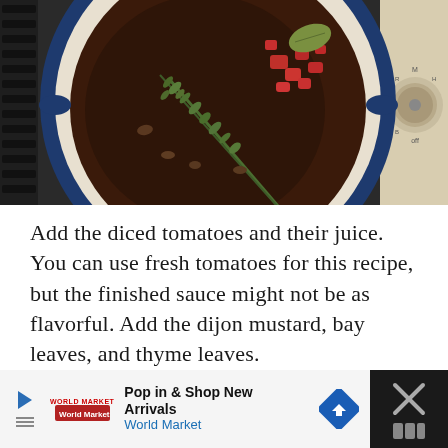[Figure (photo): Aerial view of a large blue enamel Dutch oven pot on a gas stove, containing dark braising liquid with diced red tomatoes, fresh thyme sprigs, and a bay leaf. The stove grates and control knobs are visible.]
Add the diced tomatoes and their juice. You can use fresh tomatoes for this recipe, but the finished sauce might not be as flavorful. Add the dijon mustard, bay leaves, and thyme leaves.
[Figure (other): Advertisement banner: 'Pop in & Shop New Arrivals – World Market' with a play button icon, World Market logo, a blue diamond navigation arrow icon, and a close button with an X icon on dark background.]